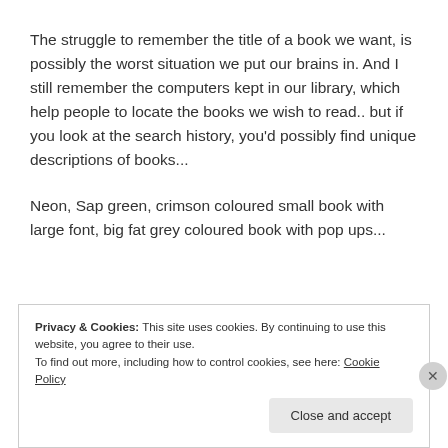The struggle to remember the title of a book we want, is possibly the worst situation we put our brains in. And I still remember the computers kept in our library, which help people to locate the books we wish to read.. but if you look at the search history, you’d possibly find unique descriptions of books...
Neon, Sap green, crimson coloured small book with large font, big fat grey coloured book with pop ups...
Privacy & Cookies: This site uses cookies. By continuing to use this website, you agree to their use.
To find out more, including how to control cookies, see here: Cookie Policy